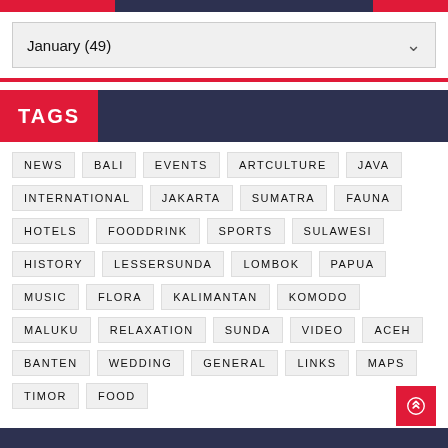January (49)
TAGS
NEWS
BALI
EVENTS
ARTCULTURE
JAVA
INTERNATIONAL
JAKARTA
SUMATRA
FAUNA
HOTELS
FOODDRINK
SPORTS
SULAWESI
HISTORY
LESSERSUNDA
LOMBOK
PAPUA
MUSIC
FLORA
KALIMANTAN
KOMODO
MALUKU
RELAXATION
SUNDA
VIDEO
ACEH
BANTEN
WEDDING
GENERAL
LINKS
MAPS
TIMOR
FOOD